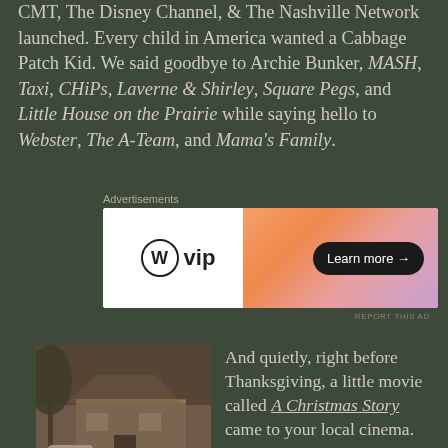CMT, The Disney Channel, & The Nashville Network launched. Every child in America wanted a Cabbage Patch Kid. We said goodbye to Archie Bunker, MASH, Taxi, CHiPs, Laverne & Shirley, Square Pegs, and Little House on the Prairie while saying hello to Webster, The A-Team, and Mama's Family.
Advertisements
[Figure (other): WordPress VIP advertisement banner with orange-pink gradient and 'Learn more' button]
REPORT THIS AD
[Figure (photo): Vintage sepia-toned photo of a house exterior in winter with an old car parked in front, likely the house from A Christmas Story]
And quietly, right before Thanksgiving, a little movie called A Christmas Story came to your local cinema. Most folks didn't pay much attention at the time, and by Christmas it had ended its brief run. 27 years later it is among our most beloved